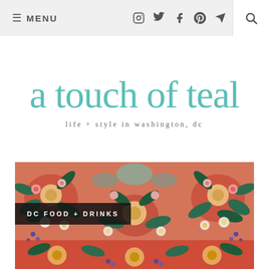≡ MENU  [social icons: instagram, twitter, facebook, pinterest, mail]  [search icon]
a touch of teal
life + style in washington, dc
[Figure (photo): Colorful floral kaleidoscope pattern in red, green, white, and purple tones]
DC FOOD + DRINKS